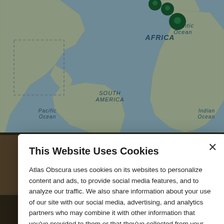[Figure (map): World map showing Atlantic Ocean, Africa, South America, Pacific Ocean, Indian Ocean, with green map pin markers clustered near Central America/Caribbean area and a dashed rectangle outline in that region.]
This Website Uses Cookies
Atlas Obscura uses cookies on its websites to personalize content and ads, to provide social media features, and to analyze our traffic. We also share information about your use of our site with our social media, advertising, and analytics partners who may combine it with other information that you've provided to them or that they've collected from your use of their services. By clicking "Accept Cookies", you are consenting to use of cookies as described in our Cookie Policy. View Cookie Policy
Manage Preferences
Allow Cookies
Casa Batlló
Templo de Debod